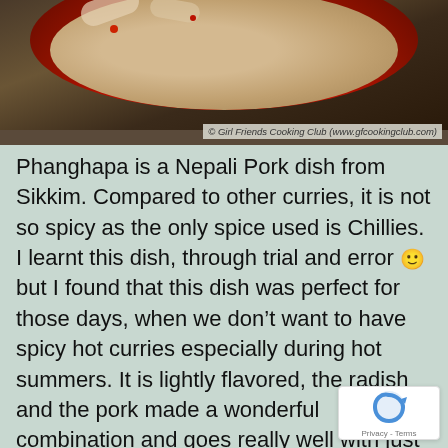[Figure (photo): Photo of Phanghapa Nepali pork dish served in a red plate, with copyright notice: © Girl Friends Cooking Club (www.gfcookingclub.com)]
Phanghapa is a Nepali Pork dish from Sikkim. Compared to other curries, it is not so spicy as the only spice used is Chillies. I learnt this dish, through trial and error 🙂 but I found that this dish was perfect for those days, when we don't want to have spicy hot curries especially during hot summers. It is lightly flavored, the radish and the pork made a wonderful combination and goes really well with just plain rice. E 🙂 ~ Kamakshi